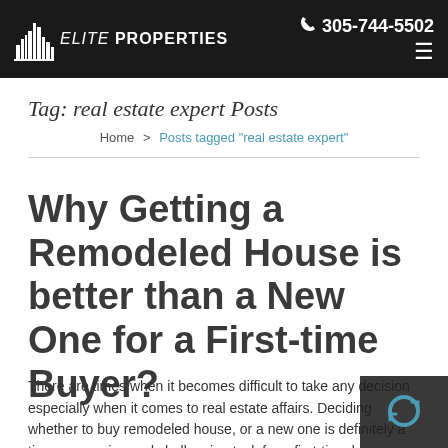Elite Properties | 305-744-5502
Tag: real estate expert Posts
Home > Posts tagged "real estate expert"
Why Getting a Remodeled House is better than a New One for a First-time Buyer?
There are times when it becomes difficult to take any decision especially when it comes to real estate affairs. Deciding whether to buy remodeled house, or a new one is definitely a time-consuming and challenging task for a first-time buyer as both